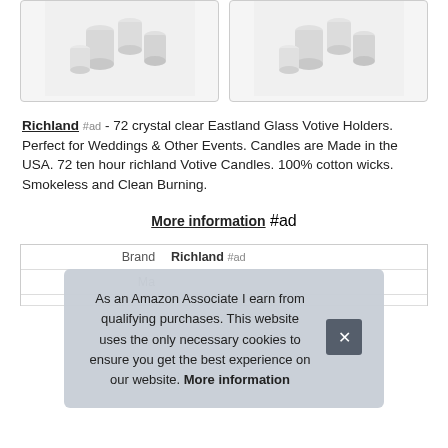[Figure (photo): Two product images side by side showing crystal clear glass votive candle holders arranged in a group on white background]
Richland #ad - 72 crystal clear Eastland Glass Votive Holders. Perfect for Weddings & Other Events. Candles are Made in the USA. 72 ten hour richland Votive Candles. 100% cotton wicks. Smokeless and Clean Burning.
More information #ad
| Brand | Richland #ad |
| Ma… | … |
As an Amazon Associate I earn from qualifying purchases. This website uses the only necessary cookies to ensure you get the best experience on our website. More information